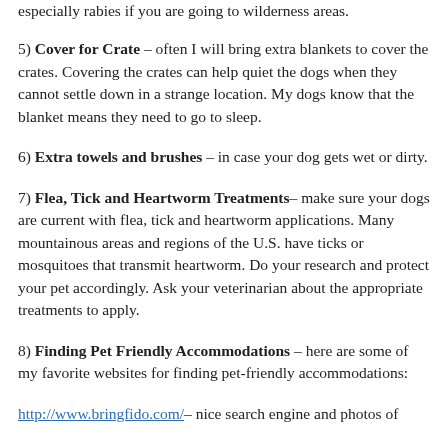especially rabies if you are going to wilderness areas.
5) Cover for Crate – often I will bring extra blankets to cover the crates. Covering the crates can help quiet the dogs when they cannot settle down in a strange location. My dogs know that the blanket means they need to go to sleep.
6) Extra towels and brushes – in case your dog gets wet or dirty.
7) Flea, Tick and Heartworm Treatments– make sure your dogs are current with flea, tick and heartworm applications. Many mountainous areas and regions of the U.S. have ticks or mosquitoes that transmit heartworm. Do your research and protect your pet accordingly. Ask your veterinarian about the appropriate treatments to apply.
8) Finding Pet Friendly Accommodations – here are some of my favorite websites for finding pet-friendly accommodations:
http://www.bringfido.com/– nice search engine and photos of